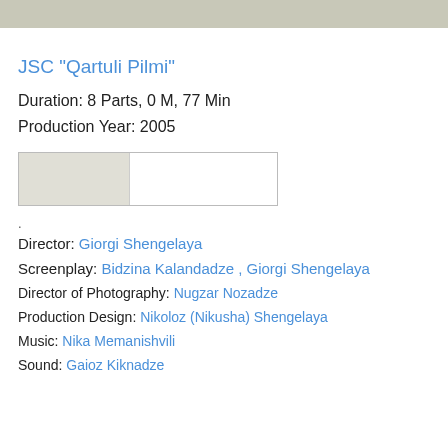[Figure (photo): Top banner image strip, gray/beige toned]
JSC "Qartuli Pilmi"
Duration: 8 Parts, 0 M, 77 Min
Production Year: 2005
[Figure (photo): Small thumbnail image placeholder, light gray box with white right portion]
.
Director: Giorgi Shengelaya
Screenplay: Bidzina Kalandadze , Giorgi Shengelaya
Director of Photography: Nugzar Nozadze
Production Design: Nikoloz (Nikusha) Shengelaya
Music: Nika Memanishvili
Sound: Gaioz Kiknadze